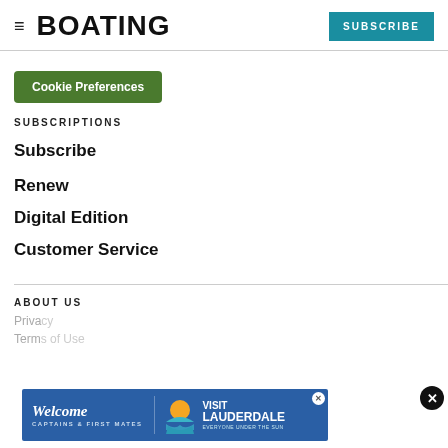BOATING | SUBSCRIBE
Cookie Preferences
SUBSCRIPTIONS
Subscribe
Renew
Digital Edition
Customer Service
ABOUT US
Privacy
Terms of Use
[Figure (infographic): Advertisement banner: 'Welcome Captains & First Mates' with Visit Lauderdale logo and sun graphic. Blue background with close button.]